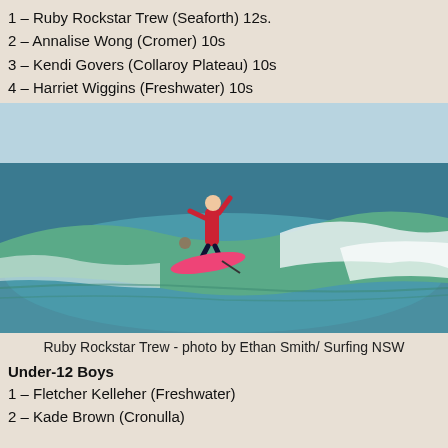1 – Ruby Rockstar Trew (Seaforth) 12s.
2 – Annalise Wong (Cromer) 10s
3 – Kendi Govers (Collaroy Plateau) 10s
4 – Harriet Wiggins (Freshwater) 10s
[Figure (photo): Surfer in red wetsuit riding a wave on a pink surfboard, ocean background with breaking white water.]
Ruby Rockstar Trew - photo by Ethan Smith/ Surfing NSW
Under-12 Boys
1 – Fletcher Kelleher (Freshwater)
2 – Kade Brown (Cronulla)